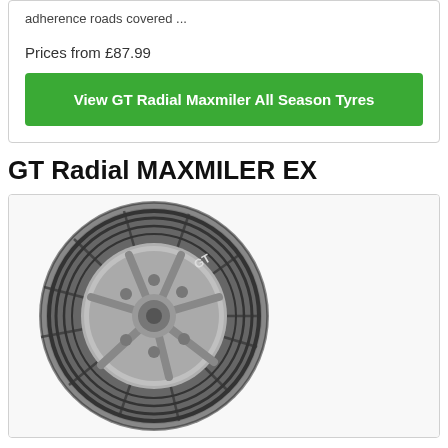adherence roads covered ...
Prices from £87.99
View GT Radial Maxmiler All Season Tyres
GT Radial MAXMILER EX
[Figure (photo): GT Radial MAXMILER EX tyre product photo showing a van/commercial tyre with detailed tread pattern and silver alloy rim, black and white/greyscale image]